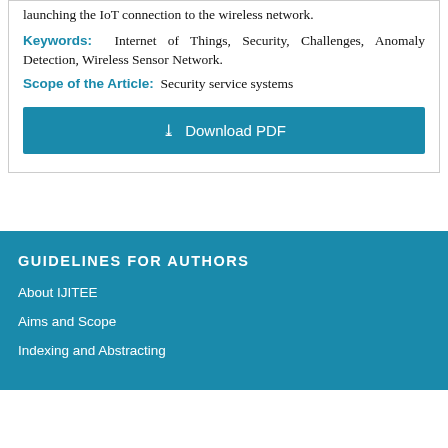launching the IoT connection to the wireless network.
Keywords: Internet of Things, Security, Challenges, Anomaly Detection, Wireless Sensor Network.
Scope of the Article: Security service systems
[Figure (other): Download PDF button]
GUIDELINES FOR AUTHORS
About IJITEE
Aims and Scope
Indexing and Abstracting